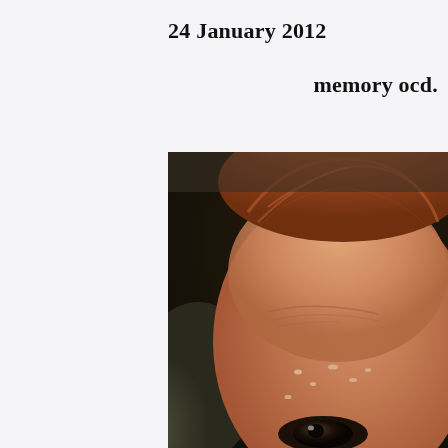24 January 2012
memory ocd.
[Figure (photo): Close-up photograph of a red-haired infant's face, showing the forehead, one eye partially visible at bottom, with visible moisture/tears on the skin. The background is dark.]